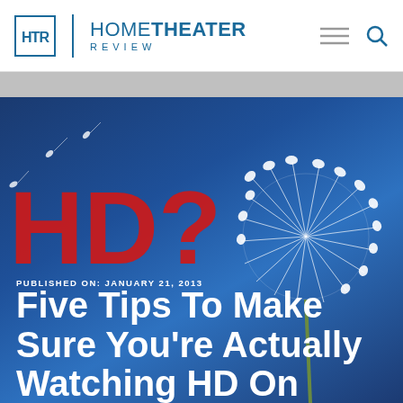HOME THEATER REVIEW
[Figure (photo): Hero image showing a dandelion with seeds blowing against a blue background, with large red 'HD?' text overlaid. Published date and article title overlay the image.]
PUBLISHED ON: JANUARY 21, 2013
Five Tips To Make Sure You're Actually Watching HD On